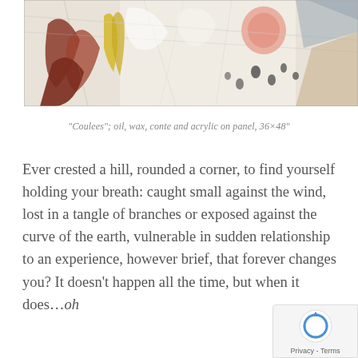[Figure (illustration): Abstract painting with energetic brushstrokes showing organic shapes in red, brown, yellow, white, and blue tones — resembles a landscape with coulees]
“Coulees”; oil, wax, conte and acrylic on panel, 36×48”
Ever crested a hill, rounded a corner, to find yourself holding your breath: caught small against the wind, lost in a tangle of branches or exposed against the curve of the earth, vulnerable in sudden relationship to an experience, however brief, that forever changes you? It doesn’t happen all the time, but when it does…oh